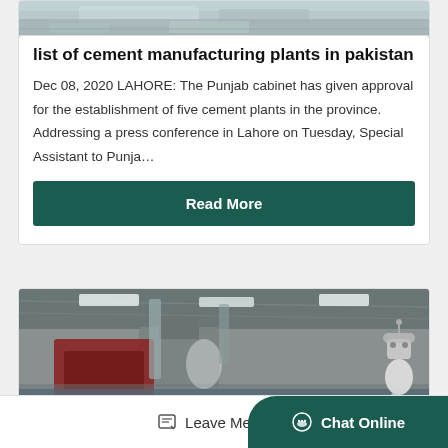[Figure (photo): Partial top image of outdoor/aerial scene, cropped at top of page]
list of cement manufacturing plants in pakistan
Dec 08, 2020 LAHORE: The Punjab cabinet has given approval for the establishment of five cement plants in the province. Addressing a press conference in Lahore on Tuesday, Special Assistant to Punja…
Read More
[Figure (photo): Interior of a cement manufacturing plant showing industrial equipment, machinery, red structure, and fluorescent lighting on metal roof]
Leave Message
Chat Online